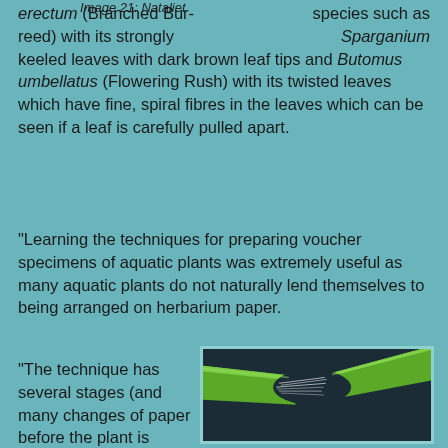Image 21: Nataliet
species such as Sparganium erectum (Branched Bur-reed) with its strongly keeled leaves with dark brown leaf tips and Butomus umbellatus (Flowering Rush) with its twisted leaves which have fine, spiral fibres in the leaves which can be seen if a leaf is carefully pulled apart.
"Learning the techniques for preparing voucher specimens of aquatic plants was extremely useful as many aquatic plants do not naturally lend themselves to being arranged on herbarium paper.
"The technique has several stages (and many changes of paper before the plant is pressed). Starting by placing a sheet of paper in a tray of shallow water, the
[Figure (photo): Close-up photograph of a green aquatic plant stem/leaf being pulled apart, showing fine white spiral fibres stretching between the two sections, against a dark background.]